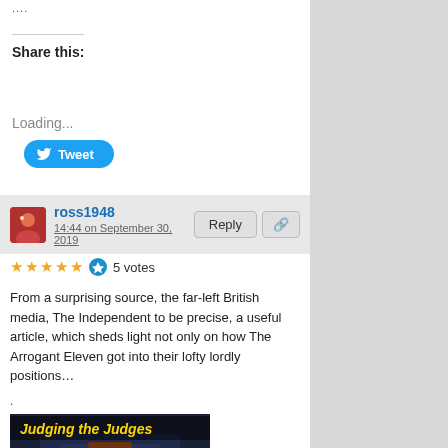....
Share this:
[Figure (other): Tweet button with Twitter bird icon]
Loading...
ross1948
14:44 on September 30, 2019
[Figure (other): 5 yellow stars and vote icon with 5 votes]
From a surprising source, the far-left British media, The Independent to be precise, a useful article, which sheds light not only on how The Arrogant Eleven got into their lofty lordly positions…
.
[Figure (photo): Image of judges with gavel and text 'Judging the Judges' in gold on dark background]